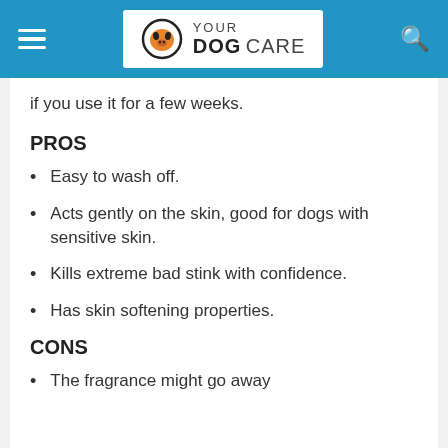YOUR DOG CARE
if you use it for a few weeks.
PROS
Easy to wash off.
Acts gently on the skin, good for dogs with sensitive skin.
Kills extreme bad stink with confidence.
Has skin softening properties.
CONS
The fragrance might go away